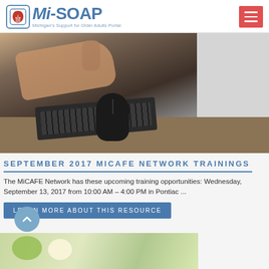Mi-SOAP Michigan's Support for Older Adults Portal
[Figure (photo): Close-up photo of a person's hand on a keyboard with a black computer mouse on a wooden desk surface]
SEPTEMBER 2017 MICAFE NETWORK TRAININGS
The MiCAFE Network has these upcoming training opportunities: Wednesday, September 13, 2017 from 10:00 AM – 4:00 PM in Pontiac ...
Learn more about this Resource